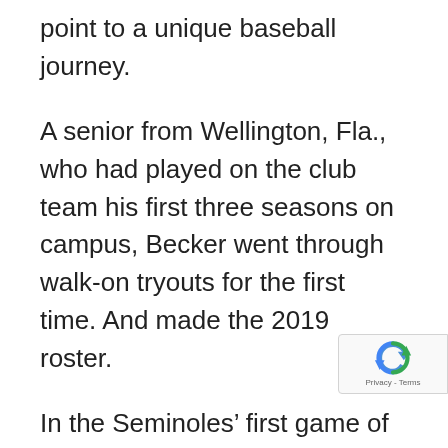point to a unique baseball journey.
A senior from Wellington, Fla., who had played on the club team his first three seasons on campus, Becker went through walk-on tryouts for the first time. And made the 2019 roster.
In the Seminoles’ first game of the Athens (Ga.) Regional, Becker played a huge role – one of a poised veteran in a pressure-filled game.
Becker hit two home runs, the first of season, in Florida State’s 13-7 win over